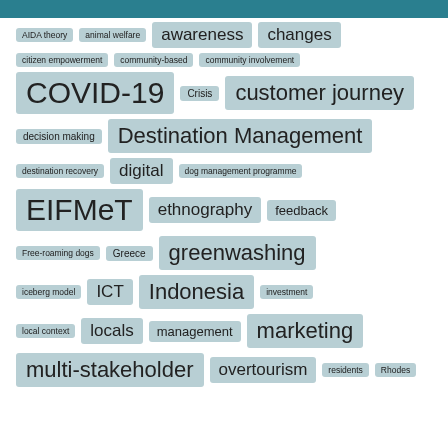[Figure (other): Tag cloud of academic/tourism research keywords with varying font sizes indicating frequency, displayed with light teal background tags on white background]
AIDA theory, animal welfare, awareness, changes, citizen empowerment, community-based, community involvement, COVID-19, Crisis, customer journey, decision making, Destination Management, destination recovery, digital, dog management programme, EIFMeT, ethnography, feedback, Free-roaming dogs, Greece, greenwashing, iceberg model, ICT, Indonesia, investment, local context, locals, management, marketing, multi-stakeholder, overtourism, residents, Rhodes